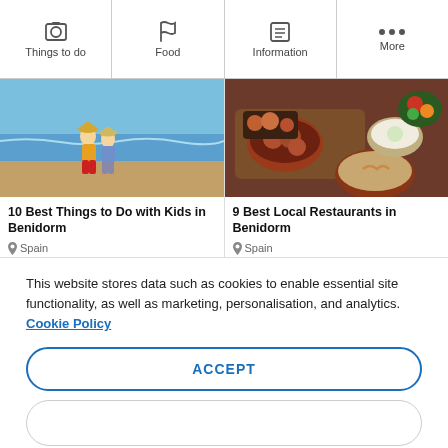Things to do | Food | Information | More
[Figure (photo): Two children walking on a beach by the sea]
10 Best Things to Do with Kids in Benidorm
Spain
[Figure (photo): Various Spanish tapas dishes in clay bowls on a wooden board]
9 Best Local Restaurants in Benidorm
Spain
This website stores data such as cookies to enable essential site functionality, as well as marketing, personalisation, and analytics. Cookie Policy
ACCEPT